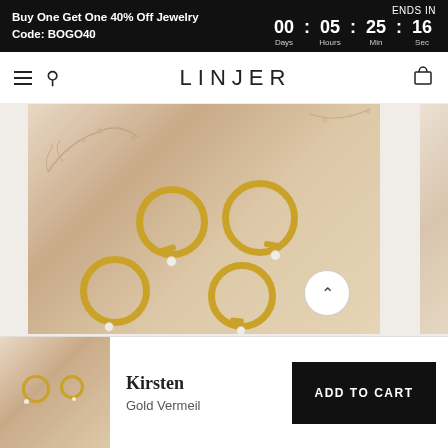Buy One Get One 40% Off Jewelry
Code: BOGO40
ENDS IN 00 : 05 : 25 : 16 Days Hours Min Sec
LINJER
[Figure (photo): Photo of multiple gold vermeil hoop earrings with pearl drops scattered on a sandy/cream textured surface with dried floral sprigs. Scrollable product gallery view.]
[Figure (photo): Thumbnail photo of gold vermeil hoop earrings with pearl drops on cream background.]
Kirsten
Gold Vermeil
ADD TO CART